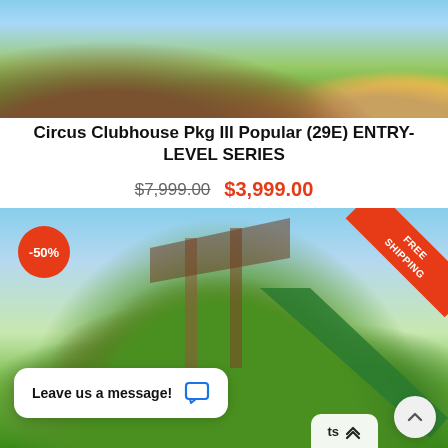[Figure (photo): Top partial image of a wooden outdoor playground/playset on a green lawn, showing part of a wooden frame structure and a yellow slide element]
Circus Clubhouse Pkg III Popular (29E) ENTRY-LEVEL SERIES
$7,999.00  $3,999.00
[Figure (photo): Main product photo of Circus Clubhouse Pkg III wooden playset with multiple children playing. Features include a clubhouse fort, green slide, swings, rope ladder, and climbing wall. A -50% discount badge appears in the top left corner and a FREE SHIPPING ribbon banner in the top right corner. A chat popup 'Leave us a message!' appears at the bottom left and a scroll-up button at the bottom right.]